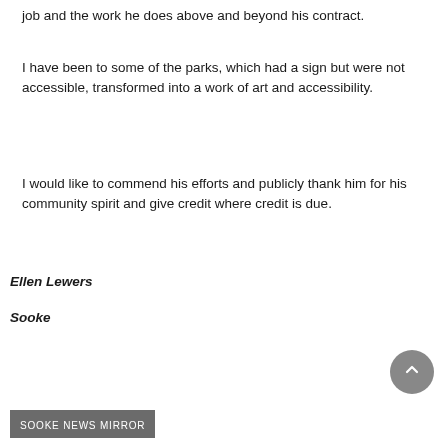job and the work he does above and beyond his contract.
I have been to some of the parks, which had a sign but were not accessible, transformed into a work of art and accessibility.
I would like to commend his efforts and publicly thank him for his community spirit and give credit where credit is due.
Ellen Lewers
Sooke
SOOKE NEWS MIRROR